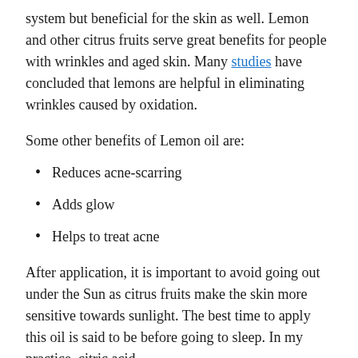system but beneficial for the skin as well. Lemon and other citrus fruits serve great benefits for people with wrinkles and aged skin. Many studies have concluded that lemons are helpful in eliminating wrinkles caused by oxidation.
Some other benefits of Lemon oil are:
Reduces acne-scarring
Adds glow
Helps to treat acne
After application, it is important to avoid going out under the Sun as citrus fruits make the skin more sensitive towards sunlight. The best time to apply this oil is said to be before going to sleep. In my practice, citric acid,